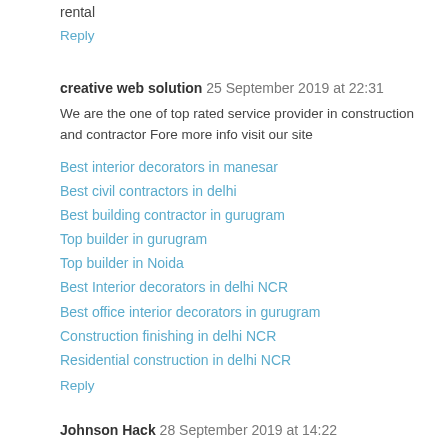rental
Reply
creative web solution  25 September 2019 at 22:31
We are the one of top rated service provider in construction and contractor Fore more info visit our site
Best interior decorators in manesar
Best civil contractors in delhi
Best building contractor in gurugram
Top builder in gurugram
Top builder in Noida
Best Interior decorators in delhi NCR
Best office interior decorators in gurugram
Construction finishing in delhi NCR
Residential construction in delhi NCR
Reply
Johnson Hack  28 September 2019 at 14:22